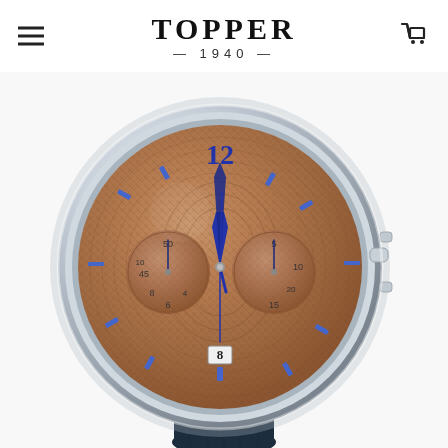TOPPER — 1940 —
[Figure (photo): A luxury chronograph watch with a bronze/copper guilloché dial featuring blue hands and sub-dials, polished steel case, and dark navy blue alligator leather strap. The watch displays a large numeral 12 at the top, two sub-dials on left and right, and a date window at 6 o'clock position.]